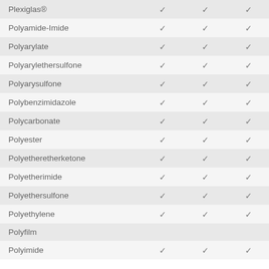| Material |  |  |  |
| --- | --- | --- | --- |
| Plexiglas® | ✓ | ✓ | ✓ |
| Polyamide-Imide | ✓ | ✓ | ✓ |
| Polyarylate | ✓ | ✓ | ✓ |
| Polyarylethersulfone | ✓ | ✓ | ✓ |
| Polyarysulfone | ✓ | ✓ | ✓ |
| Polybenzimidazole | ✓ | ✓ | ✓ |
| Polycarbonate | ✓ | ✓ | ✓ |
| Polyester | ✓ | ✓ | ✓ |
| Polyetheretherketone | ✓ | ✓ | ✓ |
| Polyetherimide | ✓ | ✓ | ✓ |
| Polyethersulfone | ✓ | ✓ | ✓ |
| Polyethylene | ✓ | ✓ | ✓ |
| Polyfilm |  |  |  |
| Polyimide | ✓ | ✓ | ✓ |